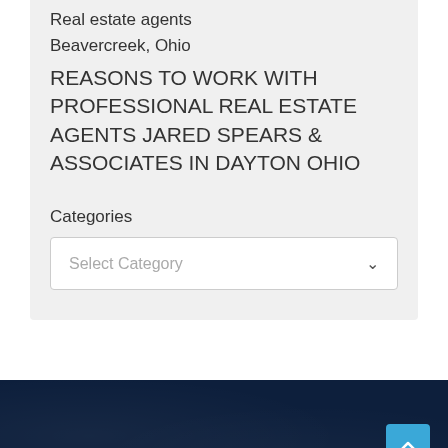Real estate agents
Beavercreek, Ohio
REASONS TO WORK WITH PROFESSIONAL REAL ESTATE AGENTS JARED SPEARS & ASSOCIATES IN DAYTON OHIO
Categories
Select Category
Business Listings